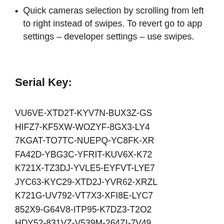Quick cameras selection by scrolling from left to right instead of swipes. To revert go to app settings – developer settings – use swipes.
Serial Key:
VU6VE-XTD2T-KYV7N-BUX3Z-GS
HIFZ7-KF5XW-WOZYF-8GX3-LY4
7KGAT-TO7TC-NUEPQ-YC8FK-XR
FA42D-YBG3C-YFRIT-KUV6X-K72
K721X-TZ3DJ-YVLE5-EYFVT-LYE7
JYC63-KYC29-XTD2J-YVR62-XRZL
K721G-UV792-VT7X3-XFI8E-LYC7
852X9-G64V8-ITP95-K7DZ3-T2O2
HDY52-831VZ-V539M-264ZI-7V49
VU6M6-K68G2-XPVH2-7BG8G-K7